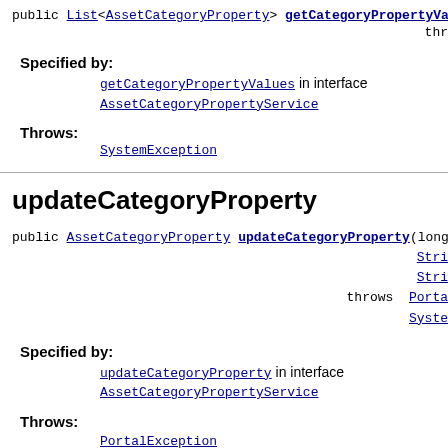public List<AssetCategoryProperty> getCategoryPropertyVa...
thr...
Specified by:
getCategoryPropertyValues in interface AssetCategoryPropertyService
Throws:
SystemException
updateCategoryProperty
public AssetCategoryProperty updateCategoryProperty(long Stri... Stri... throws Porta... Syste...
Specified by:
updateCategoryProperty in interface AssetCategoryPropertyService
Throws:
PortalException
Syste...